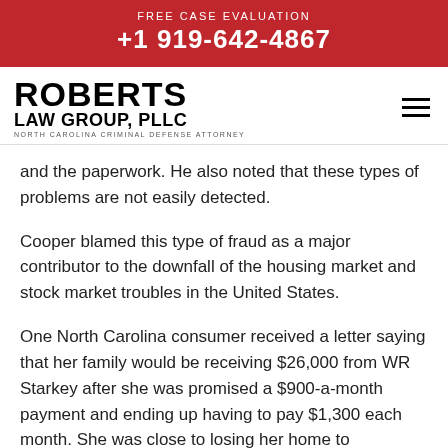FREE CASE EVALUATION
+1 919-642-4867
[Figure (logo): Roberts Law Group, PLLC - North Carolina Criminal Defense Attorney logo with hamburger menu icon]
and the paperwork. He also noted that these types of problems are not easily detected.
Cooper blamed this type of fraud as a major contributor to the downfall of the housing market and stock market troubles in the United States.
One North Carolina consumer received a letter saying that her family would be receiving $26,000 from WR Starkey after she was promised a $900-a-month payment and ending up having to pay $1,300 each month. She was close to losing her home to